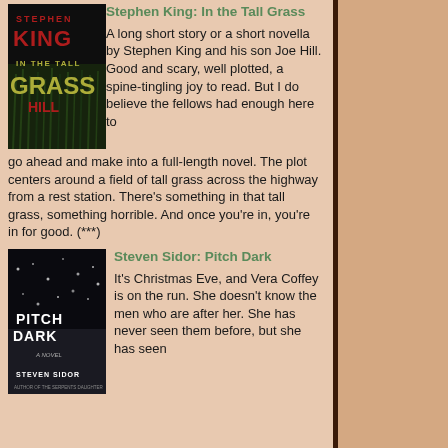[Figure (illustration): Book cover: Stephen King - In the Tall Grass, dark green and red cover]
Stephen King: In the Tall Grass
A long short story or a short novella by Stephen King and his son Joe Hill. Good and scary, well plotted, a spine-tingling joy to read. But I do believe the fellows had enough here to go ahead and make into a full-length novel. The plot centers around a field of tall grass across the highway from a rest station. There's something in that tall grass, something horrible. And once you're in, you're in for good. (***)
[Figure (illustration): Book cover: Steven Sidor - Pitch Dark, dark snowy scene]
Steven Sidor: Pitch Dark
It's Christmas Eve, and Vera Coffey is on the run. She doesn't know the men who are after her. She has never seen them before, but she has seen